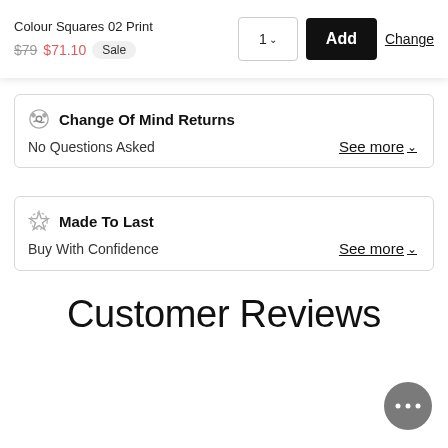Colour Squares 02 Print
$79 $71.10 Sale
1 ∨
Add
Change
Change Of Mind Returns
No Questions Asked
See more ∨
Made To Last
Buy With Confidence
See more ∨
Customer Reviews